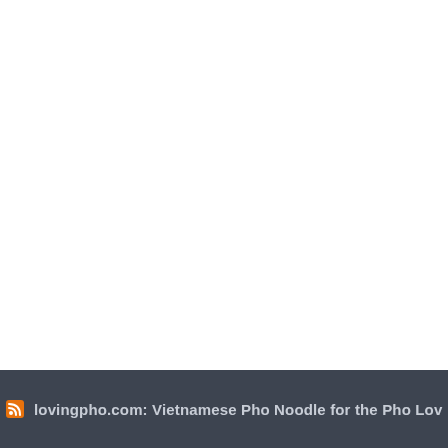lovingpho.com: Vietnamese Pho Noodle for the Pho Lov…